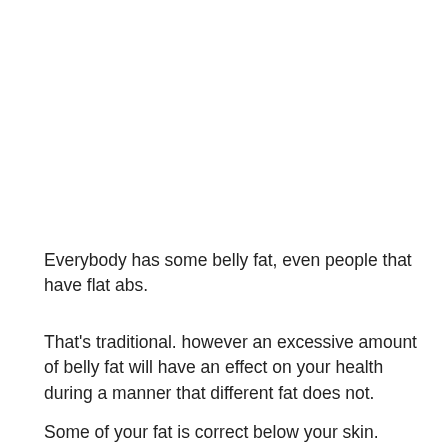Everybody has some belly fat, even people that have flat abs.
That's traditional. however an excessive amount of belly fat will have an effect on your health during a manner that different fat does not.
Some of your fat is correct below your skin. different fat is deeper within, around your heart, lungs, liver, and